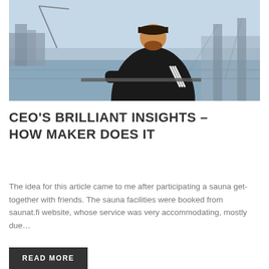[Figure (photo): A man wearing a black Adidas tracksuit and cap sitting on a railing with a river and city skyline in the background]
CEO'S BRILLIANT INSIGHTS – HOW MAKER DOES IT
The idea for this article came to me after participating a sauna get-together with friends. The sauna facilities were booked from saunat.fi website, whose service was very accommodating, mostly due…
READ MORE